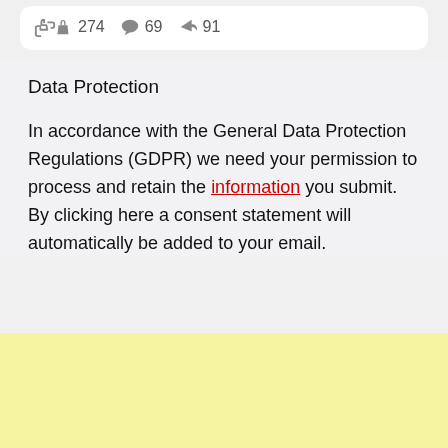[Figure (screenshot): Social media post engagement bar showing thumbs up 274, comment bubble 69, share arrow 91]
Data Protection
In accordance with the General Data Protection Regulations (GDPR) we need your permission to process and retain the information you submit. By clicking here a consent statement will automatically be added to your email.
[Figure (other): Yellow/cream colored banner area at the bottom of the page]